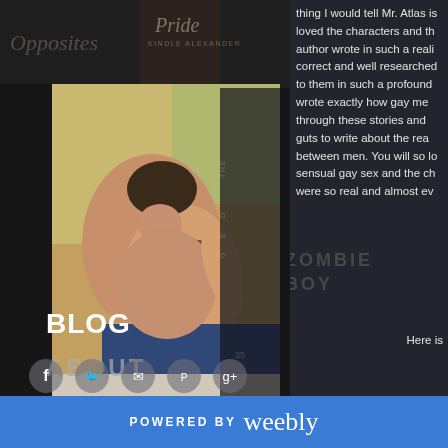[Figure (screenshot): Website screenshot showing a blog page with dark background, a photo of two men embracing in the top-left area, book covers in background, navigation links (BLOG, ABOUT, CONTACT) on left sidebar, social media icons, review text on the right side, and a blue Weebly footer at the bottom.]
thing I would tell Mr. Atlas is loved the characters and th author wrote in such a reali correct and well researched to them in such a profound wrote exactly how gay me through these stories and guts to write about the rea between men. You will so lo sensual gay sex and the ch were so real and almost ev
Here is
BLOG
ABOUT
CONTACT
POWERED BY weebly